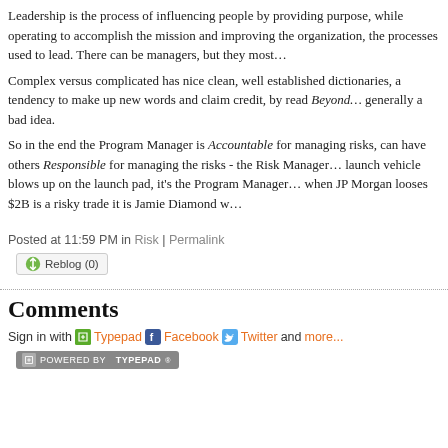Leadership is the process of influencing people by providing purpose, while operating to accomplish the mission and improving the organization, the processes used to lead. There can be managers, but they most...
Complex versus complicated has nice clean, well established dictionaries, a tendency to make up new words and claim credit, by read Beyond... generally a bad idea.
So in the end the Program Manager is Accountable for managing risks, can have others Responsible for managing the risks - the Risk Ma... launch vehicle blows up on the launch pad, it's the Program Manage... when JP Morgan looses $2B is a risky trade it is Jamie Diamond w...
Posted at 11:59 PM in Risk | Permalink
Reblog (0)
Comments
Sign in with Typepad Facebook Twitter and more...